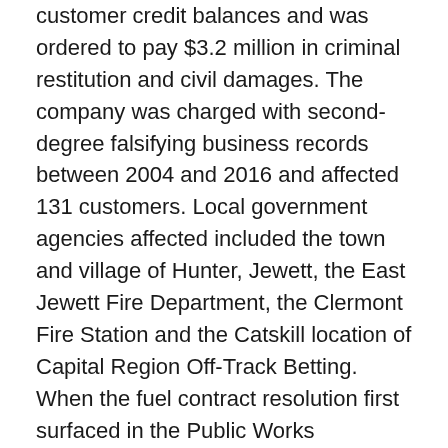customer credit balances and was ordered to pay $3.2 million in criminal restitution and civil damages. The company was charged with second-degree falsifying business records between 2004 and 2016 and affected 131 customers. Local government agencies affected included the town and village of Hunter, Jewett, the East Jewett Fire Department, the Clermont Fire Station and the Catskill location of Capital Region Off-Track Betting. When the fuel contract resolution first surfaced in the Public Works Committee, legislators asked if the company could be disqualified as the lowest responsible first bidder, a requirement by the state attorney general's office. Bottini's legal issue was closed and a rejection could make the county vulnerable to litigation, county attorney Edward Kaplan said. The resolution was then approved by the Public Works Committee and was moved to the